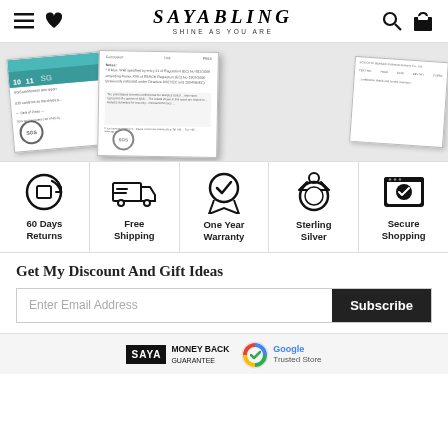Sayabling - Shine As You Are
[Figure (photo): Three overlapping SGS certification documents with a ruler visible]
[Figure (infographic): Five benefit icons: 60 Days Returns, Free Shipping, One Year Warranty, Sterling Silver, Secure Shopping]
Get My Discount And Gift Ideas
Enter Email Address
Subscribe
[Figure (logo): SAYA Money Back and Google Trusted Store logos]